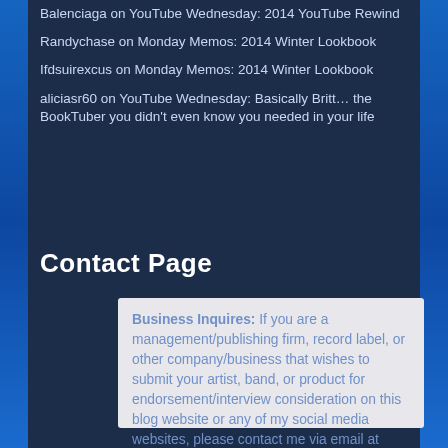Balenciaga on YouTube Wednesday: 2014 YouTube Rewind
Randychase on Monday Memos: 2014 Winter Lookbook
Ifdsuirexcus on Monday Memos: 2014 Winter Lookbook
aliciasr60 on YouTube Wednesday: Basically Britt… the BookTuber you didn't even know you needed in your life
Contact Page
Business Inquires: If you are a management/publishing firm, record label, or other company/business that wishes to submit your artist, band, or product for endorsement/interview consideration on this blog website or any of my social media websites, please contact me via email at celindareyesblog1@gmail.com